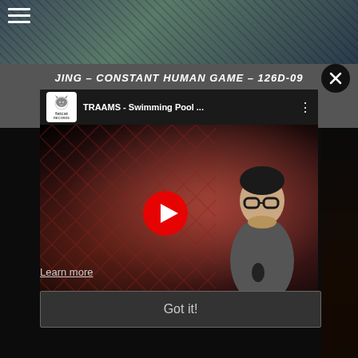[Figure (screenshot): Website screenshot showing a dark-themed music page with hamburger menu icon, teal/textured banner image at top, page title 'JING - CONSTANT HUMAN GAME - 126D-09' in white italic text, a YouTube video embed showing 'TRAAMS - Swimming Pool ...' from FatCat Records with a red play button overlay, a close (X) button, a 'Learn more' underlined link, and a 'Got it!' cookie consent button at the bottom]
JING – CONSTANT HUMAN GAME – 126D-09
TRAAMS - Swimming Pool ...
Learn more
Got it!